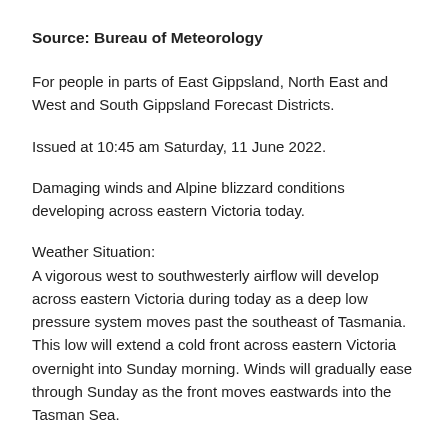Source: Bureau of Meteorology
For people in parts of East Gippsland, North East and West and South Gippsland Forecast Districts.
Issued at 10:45 am Saturday, 11 June 2022.
Damaging winds and Alpine blizzard conditions developing across eastern Victoria today.
Weather Situation:
A vigorous west to southwesterly airflow will develop across eastern Victoria during today as a deep low pressure system moves past the southeast of Tasmania. This low will extend a cold front across eastern Victoria overnight into Sunday morning. Winds will gradually ease through Sunday as the front moves eastwards into the Tasman Sea.
Locally DAMAGING WINDS averaging 60 to 70 km/h with peak gusts up to 110 km/h are possible over exposed coastal locations over East...